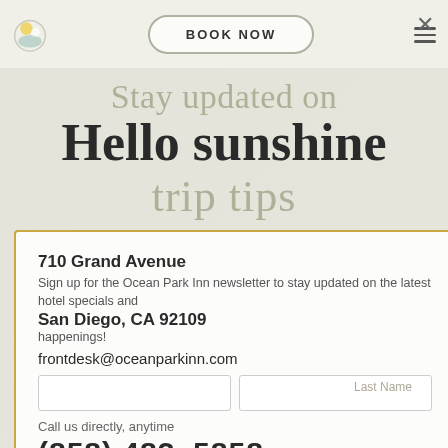[Figure (logo): Ocean Park Inn logo — circular icon with sun and wave motif]
BOOK NOW
Stay updated on
Hello sunshine
trip tips
710 Grand Avenue
Sign up for the Ocean Park Inn newsletter to stay updated on the latest hotel specials and happenings!
San Diego, CA 92109
frontdesk@oceanparkinn.com
Call us directly, anytime
(858) 483-5858